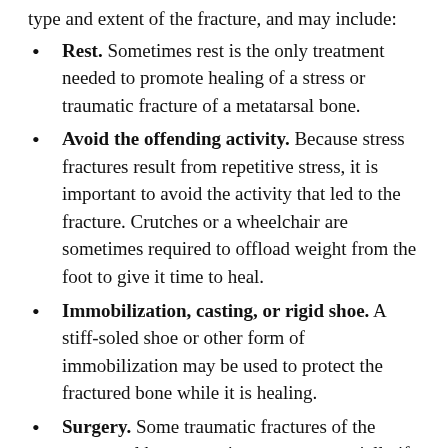type and extent of the fracture, and may include:
Rest. Sometimes rest is the only treatment needed to promote healing of a stress or traumatic fracture of a metatarsal bone.
Avoid the offending activity. Because stress fractures result from repetitive stress, it is important to avoid the activity that led to the fracture. Crutches or a wheelchair are sometimes required to offload weight from the foot to give it time to heal.
Immobilization, casting, or rigid shoe. A stiff-soled shoe or other form of immobilization may be used to protect the fractured bone while it is healing.
Surgery. Some traumatic fractures of the metatarsal bones require surgery, especially if the break is badly displaced.
Follow-up care. Your foot and ankle surgeon will provide instructions for care following surgical or non-surgical treatment. Physical